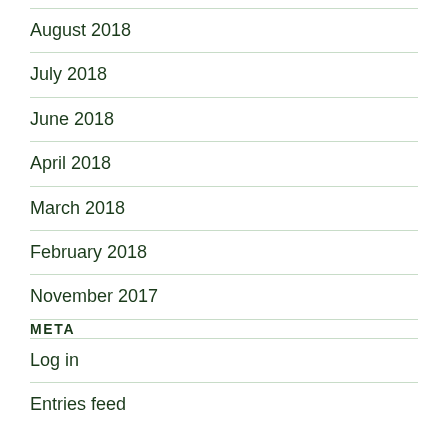August 2018
July 2018
June 2018
April 2018
March 2018
February 2018
November 2017
META
Log in
Entries feed